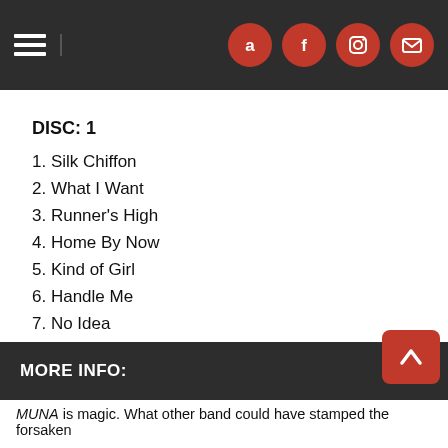Navigation header with hamburger menu and social icons (Amazon, Facebook, Instagram, Email)
DISC: 1
1. Silk Chiffon
2. What I Want
3. Runner's High
4. Home By Now
5. Kind of Girl
6. Handle Me
7. No Idea
8. Solid
9. Anything But Me
10. Loose Garment
11. Shooting Star
MORE INFO:
MUNA is magic. What other band could have stamped the forsaken